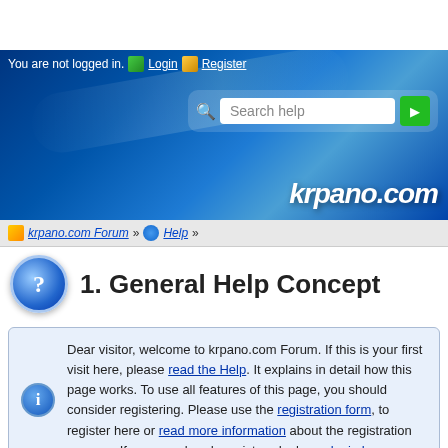[Figure (screenshot): Website header banner with blue gradient background, login bar, search box, and krpano.com branding]
You are not logged in. Login Register
Search help
krpano.com
krpano.com Forum » Help »
1. General Help Concept
Dear visitor, welcome to krpano.com Forum. If this is your first visit here, please read the Help. It explains in detail how this page works. To use all features of this page, you should consider registering. Please use the registration form, to register here or read more information about the registration process. If you are already registered, please login here.